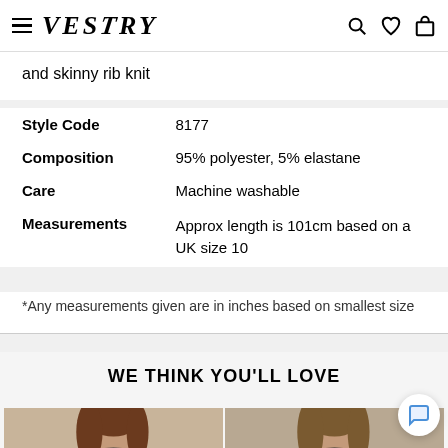VESTRY
and skinny rib knit
|  |  |
| --- | --- |
| Style Code | 8177 |
| Composition | 95% polyester, 5% elastane |
| Care | Machine washable |
| Measurements | Approx length is 101cm based on a UK size 10 |
*Any measurements given are in inches based on smallest size
WE THINK YOU'LL LOVE
[Figure (photo): Two fashion model photos side by side showing women from shoulders up]